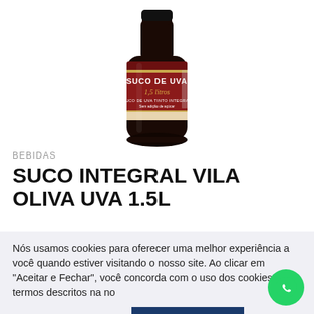[Figure (photo): Product photo of a dark glass bottle of Suco de Uva (grape juice) with a red and gold label reading 'SUCO DE UVA', '1,5 litros', 'SUCO DE UVA TINTO INTEGRAL', 'Sem adição de açúcar']
BEBIDAS
SUCO INTEGRAL VILA OLIVA UVA 1.5L
Nós usamos cookies para oferecer uma melhor experiência a você quando estiver visitando o nosso site. Ao clicar em "Aceitar e Fechar", você concorda com o uso dos cookies e termos descritos na no
Política de privacidade
Aceitar e Fechar